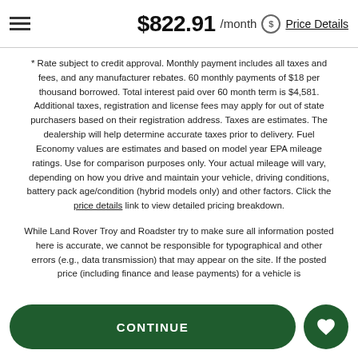$822.91 /month  Price Details
* Rate subject to credit approval. Monthly payment includes all taxes and fees, and any manufacturer rebates. 60 monthly payments of $18 per thousand borrowed. Total interest paid over 60 month term is $4,581. Additional taxes, registration and license fees may apply for out of state purchasers based on their registration address. Taxes are estimates. The dealership will help determine accurate taxes prior to delivery. Fuel Economy values are estimates and based on model year EPA mileage ratings. Use for comparison purposes only. Your actual mileage will vary, depending on how you drive and maintain your vehicle, driving conditions, battery pack age/condition (hybrid models only) and other factors. Click the price details link to view detailed pricing breakdown.
While Land Rover Troy and Roadster try to make sure all information posted here is accurate, we cannot be responsible for typographical and other errors (e.g., data transmission) that may appear on the site. If the posted price (including finance and lease payments) for a vehicle is